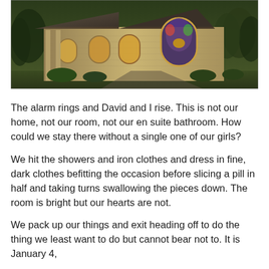[Figure (photo): Exterior photograph of a stone chapel or church building with arched windows including a large stained-glass window, a pitched metal roof, and surrounding trees and landscaping at dusk or golden hour.]
The alarm rings and David and I rise. This is not our home, not our room, not our en suite bathroom. How could we stay there without a single one of our girls?
We hit the showers and iron clothes and dress in fine, dark clothes befitting the occasion before slicing a pill in half and taking turns swallowing the pieces down. The room is bright but our hearts are not.
We pack up our things and exit heading off to do the thing we least want to do but cannot bear not to. It is January 4,